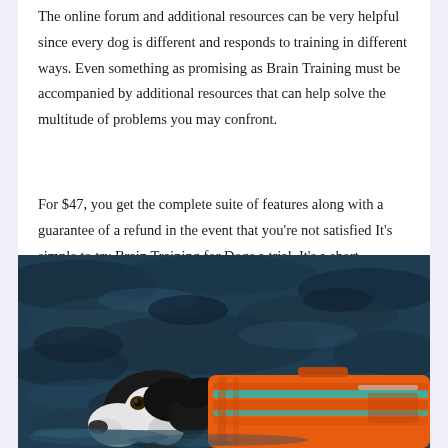The online forum and additional resources can be very helpful since every dog is different and responds to training in different ways. Even something as promising as Brain Training must be accompanied by additional resources that can help solve the multitude of problems you may confront.
For $47, you get the complete suite of features along with a guarantee of a refund in the event that you're not satisfied It's simple to try Brain Training for Dogs a trial. It's a short commitment to time and the help of experienced dog trainers, Brain Training for Dogs is a valuable resource for those who want to enhance their dog's behavior and their understanding of their dog's personality.
[Figure (photo): A black and white dog wearing an orange life jacket swimming in water, viewed from the side at water level.]